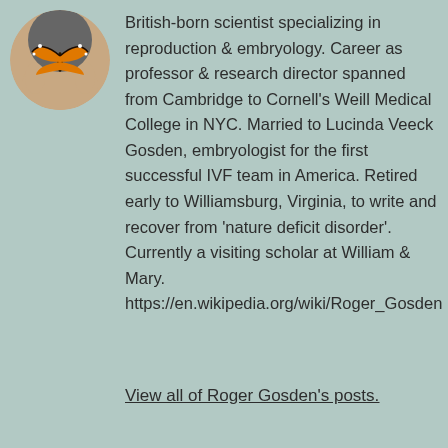[Figure (photo): Circular profile photo of a person holding a monarch butterfly]
British-born scientist specializing in reproduction & embryology. Career as professor & research director spanned from Cambridge to Cornell's Weill Medical College in NYC. Married to Lucinda Veeck Gosden, embryologist for the first successful IVF team in America. Retired early to Williamsburg, Virginia, to write and recover from 'nature deficit disorder'. Currently a visiting scholar at William & Mary.
https://en.wikipedia.org/wiki/Roger_Gosden
View all of Roger Gosden's posts.